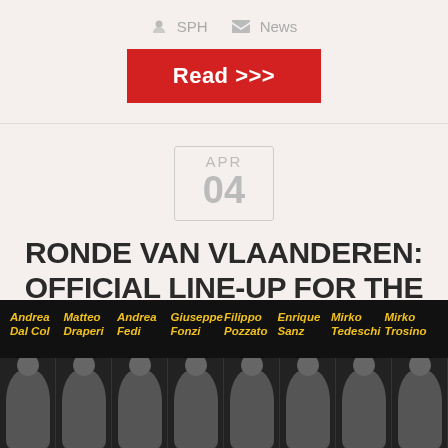SPH  News
Read >>>
APR 04
RONDE VAN VLAANDEREN: OFFICIAL LINE-UP FOR THE 100TH EDITION
[Figure (photo): Team photo bar showing eight cyclists in yellow and white kit against a black background, with names: Andrea Dal Col, Matteo Draperi, Andrea Fedi, Giuseppe Fonzi, Filippo Pozzato, Enrique Sanz, Mirko Tedeschi, Mirko Trosino]